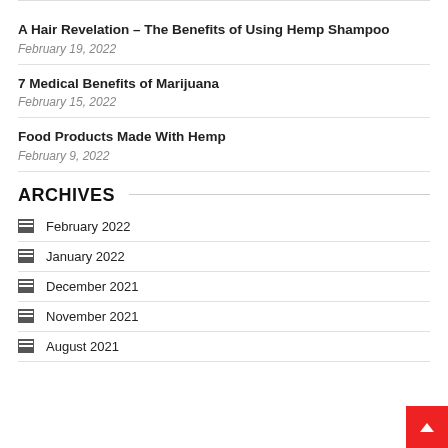A Hair Revelation – The Benefits of Using Hemp Shampoo
February 19, 2022
7 Medical Benefits of Marijuana
February 15, 2022
Food Products Made With Hemp
February 9, 2022
ARCHIVES
February 2022
January 2022
December 2021
November 2021
August 2021